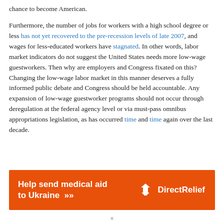chance to become American.
Furthermore, the number of jobs for workers with a high school degree or less has not yet recovered to the pre-recession levels of late 2007, and wages for less-educated workers have stagnated. In other words, labor market indicators do not suggest the United States needs more low-wage guestworkers. Then why are employers and Congress fixated on this? Changing the low-wage labor market in this manner deserves a fully informed public debate and Congress should be held accountable. Any expansion of low-wage guestworker programs should not occur through deregulation at the federal agency level or via must-pass omnibus appropriations legislation, as has occurred time and time again over the last decade.
[Figure (other): Orange advertisement banner for Direct Relief: 'Help send medical aid to Ukraine >>' with Direct Relief logo on right]
x